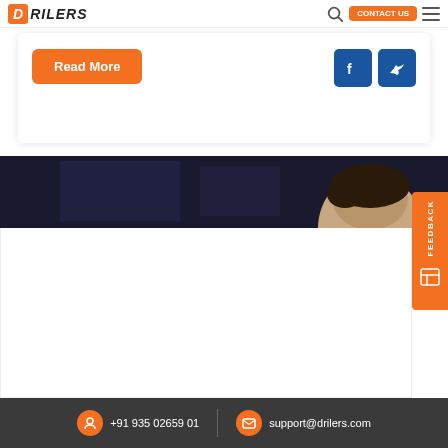DRILERS
[Figure (screenshot): Read More button with social media Facebook and Twitter icons]
[Figure (photo): Person head visible against dark background banner]
[Figure (other): Orange vertical FEEDBACK tab on right side]
+91 935 02659 01  support@drilers.com